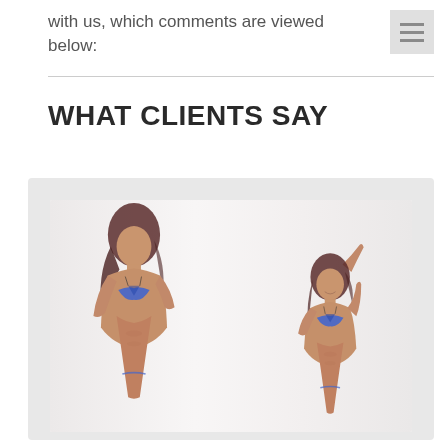with us, which comments are viewed below:
WHAT CLIENTS SAY
[Figure (photo): Two women in blue bikinis posing on a beach/light background. Left woman faces sideways with hair down. Right woman poses with arm raised over head, both smiling.]